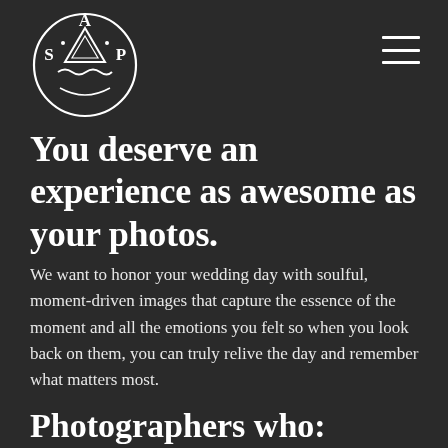[Figure (logo): SAP circular logo with mountains/wave motif and text S A P arranged in a circle, white line art on dark background]
You deserve an experience as awesome as your photos.
We want to honor your wedding day with soulful, moment-driven images that capture the essence of the moment and all the emotions you felt so when you look back on them, you can truly relive the day and remember what matters most.
Photographers who: